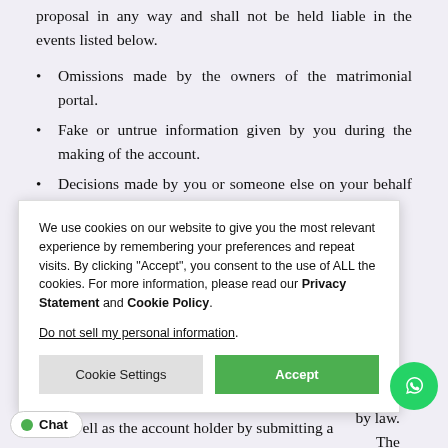proposal in any way and shall not be held liable in the events listed below.
Omissions made by the owners of the matrimonial portal.
Fake or untrue information given by you during the making of the account.
Decisions made by you or someone else on your behalf and the resulting consequences.
…by someone
…n of clients …share with …e obliged to …by law. The …vners of the …the as well as the account holder by submitting a
[Figure (screenshot): Cookie consent popup with text: We use cookies on our website to give you the most relevant experience by remembering your preferences and repeat visits. By clicking "Accept", you consent to the use of ALL the cookies. For more information, please read our Privacy Statement and Cookie Policy. Do not sell my personal information. Buttons: Cookie Settings, Accept.]
[Figure (other): WhatsApp circular green button icon in bottom right corner.]
[Figure (other): Chat button with green dot in bottom left corner.]